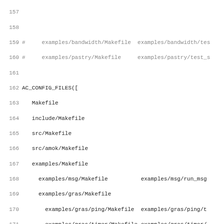Code listing lines 157-189 showing AC_CONFIG_FILES macro and shell script content in a Makefile/autoconf configuration file